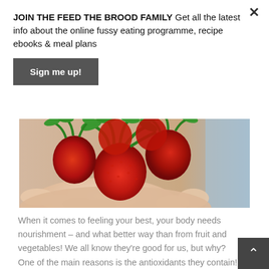JOIN THE FEED THE BROOD FAMILY Get all the latest info about the online fussy eating programme, recipe ebooks & meal plans
Sign me up!
[Figure (photo): Hands cupping several ripe red strawberries with green leaves against a light blurred background]
When it comes to feeling your best, your body needs nourishment – and what better way than from fruit and vegetables! We all know they're good for us, but why? One of the main reasons is the antioxidants they contain!